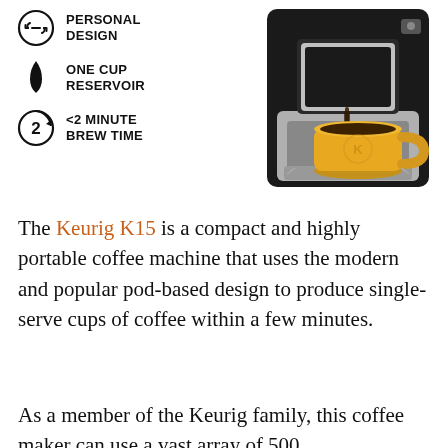[Figure (infographic): Three feature icons on the left: (1) circular arrows icon with text PERSONAL DESIGN, (2) water drop icon with text ONE CUP RESERVOIR, (3) timer/clock icon with text <2 MINUTE BREW TIME. On the right is a photo of a black Keurig K15 coffee machine with a yellow mug under the brew head, coffee pouring into it.]
The Keurig K15 is a compact and highly portable coffee machine that uses the modern and popular pod-based design to produce single-serve cups of coffee within a few minutes.
As a member of the Keurig family, this coffee maker can use a vast array of 500